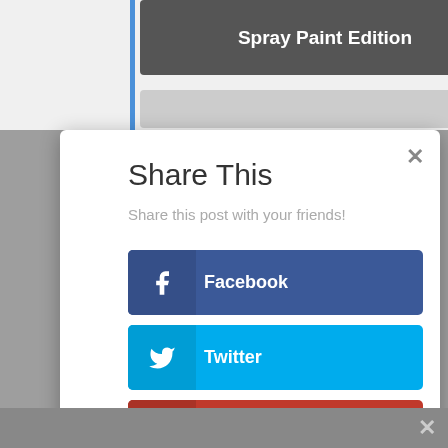[Figure (screenshot): Social share modal dialog with title 'Share This', subtitle 'Share this post with your friends!', and sharing buttons for Facebook, Twitter, Google+, Buffer, Pinterest, and Gmail on a website background showing 'Spray Paint Edition' card.]
Share This
Share this post with your friends!
Facebook
Twitter
Google+
Buffer
Pinterest
Gmail